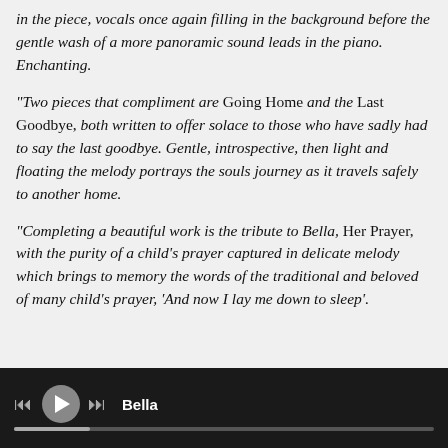in the piece, vocals once again filling in the background before the gentle wash of a more panoramic sound leads in the piano. Enchanting.
"Two pieces that compliment are Going Home and the Last Goodbye, both written to offer solace to those who have sadly had to say the last goodbye. Gentle, introspective, then light and floating the melody portrays the souls journey as it travels safely to another home.
"Completing a beautiful work is the tribute to Bella, Her Prayer, with the purity of a child's prayer captured in delicate melody which brings to memory the words of the traditional and beloved of many child's prayer, 'And now I lay me down to sleep'.
Bella